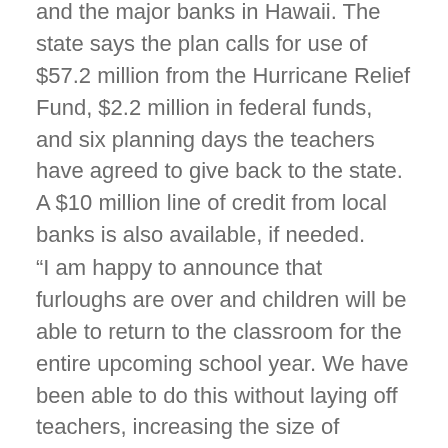and the major banks in Hawaii. The state says the plan calls for use of $57.2 million from the Hurricane Relief Fund, $2.2 million in federal funds, and six planning days the teachers have agreed to give back to the state. A $10 million line of credit from local banks is also available, if needed.
“I am happy to announce that furloughs are over and children will be able to return to the classroom for the entire upcoming school year. We have been able to do this without laying off teachers, increasing the size of classes, raising taxes, or adversely impacting the State budget,” Governor Lingle said. “I am particularly proud